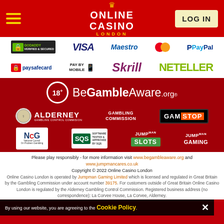[Figure (logo): Online Casino London header with hamburger menu, crown logo, and LOG IN button on red background]
[Figure (logo): Payment provider logos row 1: GoDaddy Verified & Secured, VISA, Maestro, Mastercard, PayPal]
[Figure (logo): Payment provider logos row 2: paysafecard, Pay By Mobile, Skrill, NETELLER]
[Figure (logo): 18+ BeGambleAware.org logo]
[Figure (logo): Regulatory logos: Alderney Gambling Control Commission, Gambling Commission, GamStop]
[Figure (logo): Certification logos: NCPG, SQS Software Tested & Approved, Jumpman Slots, Jumpman Gaming]
Please play responsibly - for more information visit www.begambleaware.org and www.jumpmancares.co.uk
Copyright © 2022 Online Casino London
Online Casino London is operated by Jumpman Gaming Limited which is licensed and regulated in Great Britain by the Gambling Commission under account number 39175. For customers outside of Great Britain Online Casino London is regulated by the Alderney Gambling Control Commission. Registered business address (no correspondence): La Corvee House, La Corvee, Alderney.
By using our website, you are agreeing to the Cookie Policy.